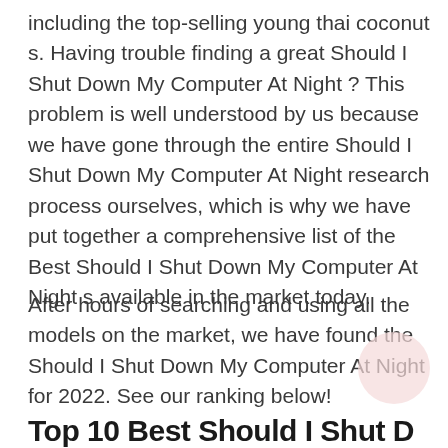including the top-selling young thai coconut s. Having trouble finding a great Should I Shut Down My Computer At Night ? This problem is well understood by us because we have gone through the entire Should I Shut Down My Computer At Night research process ourselves, which is why we have put together a comprehensive list of the Best Should I Shut Down My Computer At Night s available in the market today.
After hours of searching and using all the models on the market, we have found the Should I Shut Down My Computer At Night for 2022. See our ranking below!
Top 10 Best Should I Shut D...